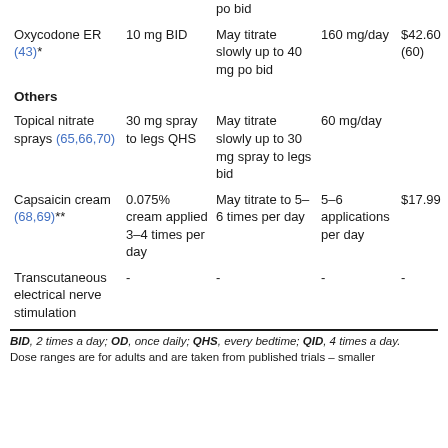| Drug | Starting Dose | Titration | Max Dose | Cost |
| --- | --- | --- | --- | --- |
| Oxycodone ER (43)* | 10 mg BID | May titrate slowly up to 40 mg po bid | 160 mg/day | $42.60 (60) |
| Others |  |  |  |  |
| Topical nitrate sprays (65,66,70) | 30 mg spray to legs QHS | May titrate slowly up to 30 mg spray to legs bid | 60 mg/day |  |
| Capsaicin cream (68,69)** | 0.075% cream applied 3–4 times per day | May titrate to 5–6 times per day | 5–6 applications per day | $17.99 |
| Transcutaneous electrical nerve stimulation | - | - | - | - |
BID, 2 times a day; OD, once daily; QHS, every bedtime; QID, 4 times a day. Dose ranges are for adults and are taken from published trials – smaller